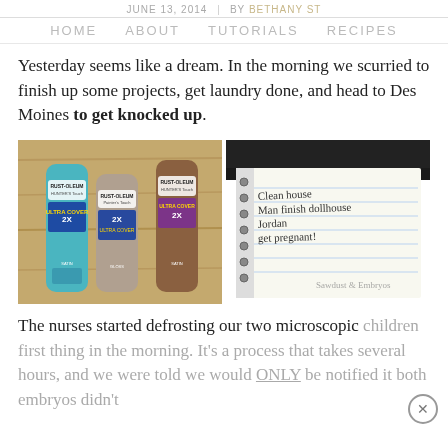JUNE 13, 2014 | BY BETHANY ST
HOME   ABOUT   TUTORIALS   RECIPES
Yesterday seems like a dream. In the morning we scurried to finish up some projects, get laundry done, and head to Des Moines to get knocked up.
[Figure (photo): Two photos side by side: left shows Rust-Oleum spray paint cans on a wooden surface; right shows a spiral notebook with handwritten to-do list items.]
The nurses started defrosting our two microscopic children first thing in the morning. It's a process that takes several hours, and we were told we would ONLY be notified it both embryos didn't